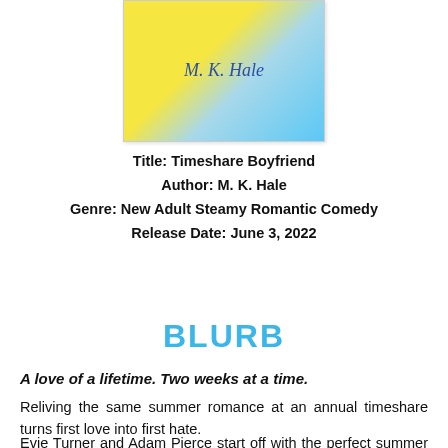[Figure (illustration): Book cover for 'Timeshare Boyfriend' by M. K. Hale. Colorful abstract cover with yellow, light blue, and blue areas. Author name 'M. K. Hale' shown in blue italic text.]
Title: Timeshare Boyfriend
Author: M. K. Hale
Genre: New Adult Steamy Romantic Comedy
Release Date: June 3, 2022
BLURB
A love of a lifetime. Two weeks at a time.
Reliving the same summer romance at an annual timeshare turns first love into first hate.
Evie Turner and Adam Pierce start off with the perfect summer romance, but when they reunite five years